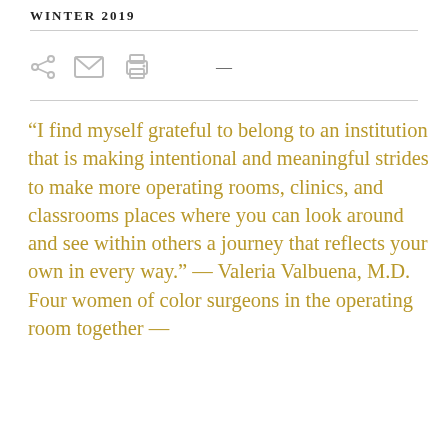WINTER 2019
“I find myself grateful to belong to an institution that is making intentional and meaningful strides to make more operating rooms, clinics, and classrooms places where you can look around and see within others a journey that reflects your own in every way.” — Valeria Valbuena, M.D. Four women of color surgeons in the operating room together —